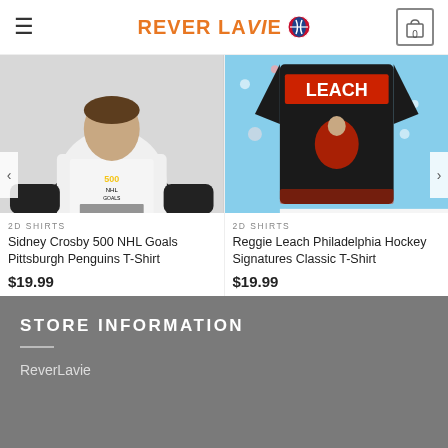REVER LAVIE [NBA logo]
[Figure (photo): Man wearing a white t-shirt with Sidney Crosby 500 NHL Goals Pittsburgh Penguins graphic print]
2D SHIRTS
Sidney Crosby 500 NHL Goals Pittsburgh Penguins T-Shirt
$19.99
[Figure (photo): Black t-shirt and blue fabric with Reggie Leach Philadelphia Hockey Signatures design, with shirt color options and Stripe payment icons shown below]
2D SHIRTS
Reggie Leach Philadelphia Hockey Signatures Classic T-Shirt
$19.99
STORE INFORMATION
ReverLavie